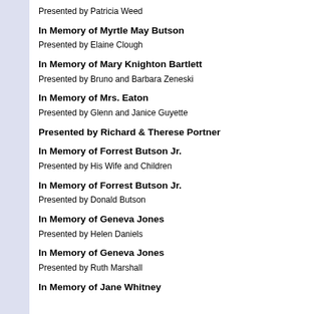Presented by Patricia Weed
In Memory of Myrtle May Butson
Presented by Elaine Clough
In Memory of Mary Knighton Bartlett
Presented by Bruno and Barbara Zeneski
In Memory of Mrs. Eaton
Presented by Glenn and Janice Guyette
Presented by Richard & Therese Portner
In Memory of Forrest Butson Jr.
Presented by His Wife and Children
In Memory of Forrest Butson Jr.
Presented by Donald Butson
In Memory of Geneva Jones
Presented by Helen Daniels
In Memory of Geneva Jones
Presented by Ruth Marshall
In Memory of Jane Whitney